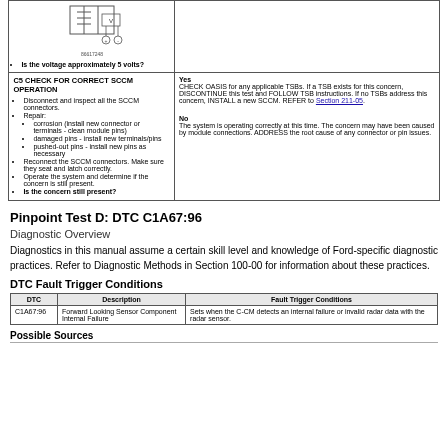[Figure (schematic): Wiring diagram showing voltage measurement points with voltmeter symbol]
Is the voltage approximately 5 volts?
C5 CHECK FOR CORRECT SCCM OPERATION
Disconnect and inspect all the SCCM connectors.
Repair: corrosion (install new connector or terminals - clean module pins); damaged pins - install new terminals/pins; pushed-out pins - install new pins as necessary
Reconnect the SCCM connectors. Make sure they seat and latch correctly.
Operate the system and determine if the concern is still present.
Is the concern still present?
Yes
CHECK OASIS for any applicable TSBs. If a TSB exists for this concern, DISCONTINUE this test and FOLLOW TSB instructions. If no TSBs address this concern, INSTALL a new SCCM. REFER to Section 211-05.
No
The system is operating correctly at this time. The concern may have been caused by module connections. ADDRESS the root cause of any connector or pin issues.
Pinpoint Test D: DTC C1A67:96
Diagnostic Overview
Diagnostics in this manual assume a certain skill level and knowledge of Ford-specific diagnostic practices. Refer to Diagnostic Methods in Section 100-00 for information about these practices.
DTC Fault Trigger Conditions
| DTC | Description | Fault Trigger Conditions |
| --- | --- | --- |
| C1A67:96 | Forward Looking Sensor Component Internal Failure | Sets when the C-CM detects an internal failure or invalid radar data with the radar sensor. |
Possible Sources